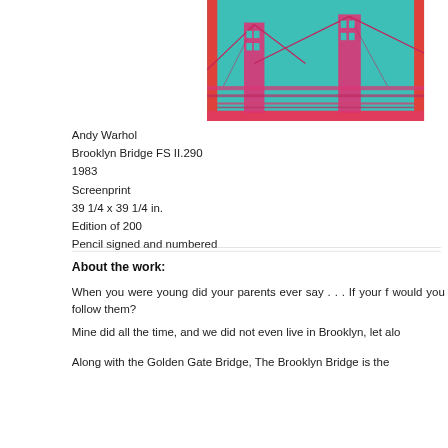[Figure (illustration): Andy Warhol screenprint of Brooklyn Bridge in teal/cyan and hot pink/red colors, partially visible, cropped at right edge of page]
Andy Warhol
Brooklyn Bridge FS II.290
1983
Screenprint
39 1/4 x 39 1/4 in.
Edition of 200
Pencil signed and numbered
About the work:
When you were young did your parents ever say . . . If your f would you follow them?
Mine did all the time, and we did not even live in Brooklyn, let alo
Along with the Golden Gate Bridge, The Brooklyn Bridge is the